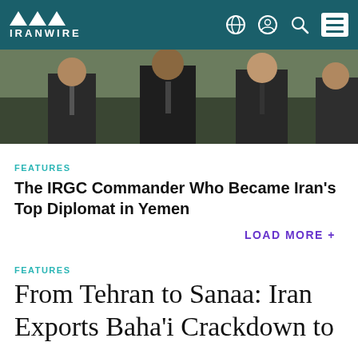IRANWIRE
[Figure (photo): Group of men in dark suits standing outdoors with greenery in background]
FEATURES
The IRGC Commander Who Became Iran's Top Diplomat in Yemen
LOAD MORE +
FEATURES
From Tehran to Sanaa: Iran Exports Baha'i Crackdown to